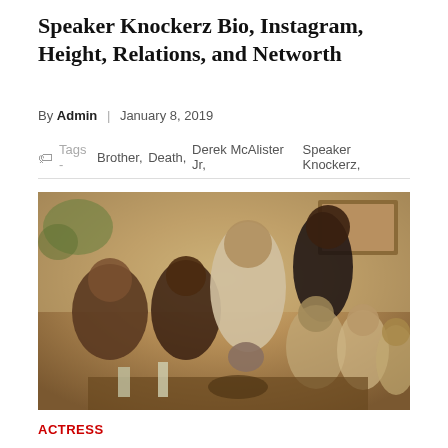Speaker Knockerz Bio, Instagram, Height, Relations, and Networth
By Admin | January 8, 2019
Tags - Brother, Death, Derek McAlister Jr, Speaker Knockerz,
[Figure (photo): Group family photo showing several adults and children gathered together indoors, vintage style photograph]
ACTRESS